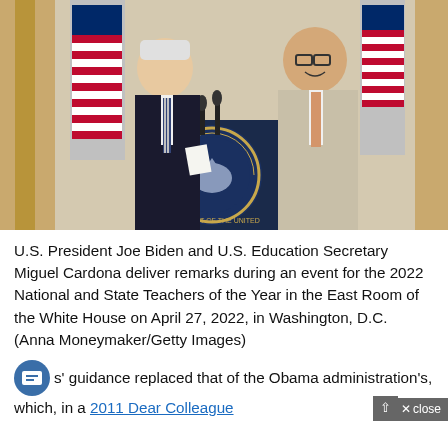[Figure (photo): U.S. President Joe Biden and U.S. Education Secretary Miguel Cardona standing at a presidential podium during an event at the White House East Room. Biden is on the left in a dark suit holding papers, Cardona is on the right in a light gray suit, smiling. American flags and White House decor visible in background.]
U.S. President Joe Biden and U.S. Education Secretary Miguel Cardona deliver remarks during an event for the 2022 National and State Teachers of the Year in the East Room of the White House on April 27, 2022, in Washington, D.C.  (Anna Moneymaker/Getty Images)
s' guidance replaced that of the Obama administration's, which, in a 2011 Dear Colleague